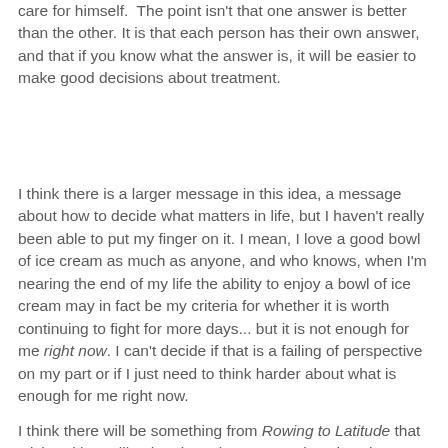care for himself.  The point isn't that one answer is better than the other. It is that each person has their own answer, and that if you know what the answer is, it will be easier to make good decisions about treatment.
I think there is a larger message in this idea, a message about how to decide what matters in life, but I haven't really been able to put my finger on it. I mean, I love a good bowl of ice cream as much as anyone, and who knows, when I'm nearing the end of my life the ability to enjoy a bowl of ice cream may in fact be my criteria for whether it is worth continuing to fight for more days... but it is not enough for me right now. I can't decide if that is a failing of perspective on my part or if I just need to think harder about what is enough for me right now.
I think there will be something from Rowing to Latitude that sticks with me like the above items, too. I just don't know